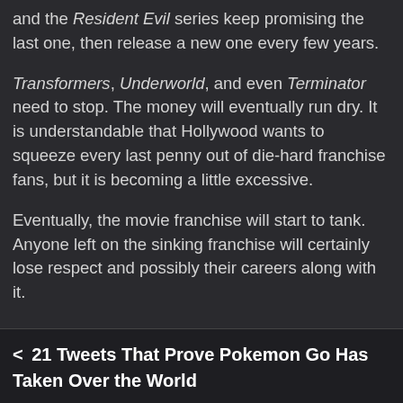and the Resident Evil series keep promising the last one, then release a new one every few years.
Transformers, Underworld, and even Terminator need to stop. The money will eventually run dry. It is understandable that Hollywood wants to squeeze every last penny out of die-hard franchise fans, but it is becoming a little excessive.
Eventually, the movie franchise will start to tank. Anyone left on the sinking franchise will certainly lose respect and possibly their careers along with it.
< 21 Tweets That Prove Pokemon Go Has Taken Over the World